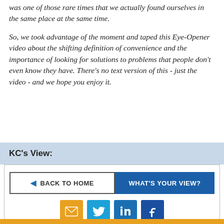was one of those rare times that we actually found ourselves in the same place at the same time.
So, we took advantage of the moment and taped this Eye-Opener video about the shifting definition of convenience and the importance of looking for solutions to problems that people don't even know they have. There's no text version of this - just the video - and we hope you enjoy it.
KC's View:
BACK TO HOME
WHAT'S YOUR VIEW?